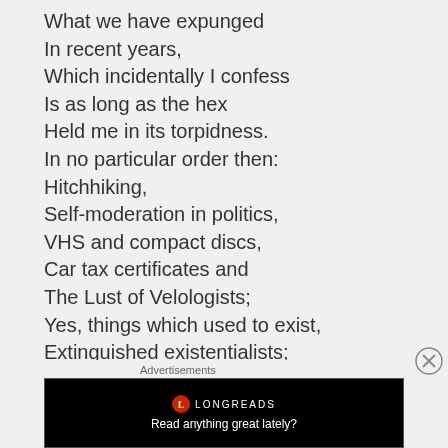What we have expunged
In recent years,
Which incidentally I confess
Is as long as the hex
Held me in its torpidness.
In no particular order then:
Hitchhiking,
Self-moderation in politics,
VHS and compact discs,
Car tax certificates and
The Lust of Velologists;
Yes, things which used to exist,
Extinguished existentialists;
Dreams of archaeologists,
Ozone, arctic shelf
Advertisements
[Figure (other): Longreads advertisement banner — black background with Longreads logo and tagline 'Read anything great lately?']